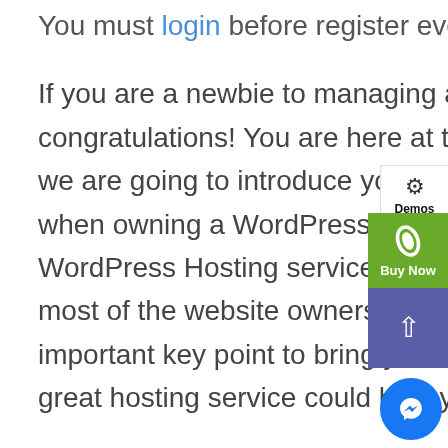You must login before register event.
If you are a newbie to managing a WordPress website, then congratulations! You are here at the right track with us because we are going to introduce you of the most basic knowledge when owning a WordPress page: how to find your site the best WordPress Hosting service. This process is often overlooked by most of the website owners. But it can be considered the most important key point to bring your site stand out of the crowd. A great hosting service could help you to improve SEO and
[Figure (screenshot): UI overlay buttons: Demos (gear icon), Buy Now (green button with leaf icon), back-to-top (purple arrow), and Messenger chat button (blue circle)]